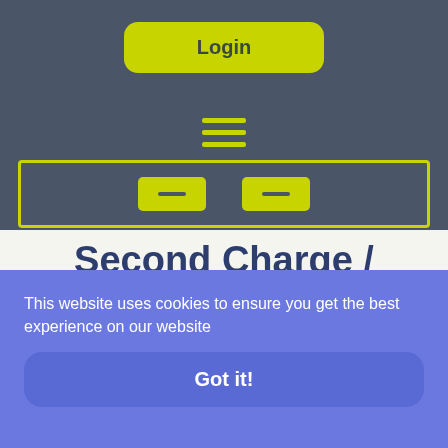Login
Second Charge / Further Advance
If you're tied into a fixed rate product, but still want/need more money for say home improvements for
This website uses cookies to ensure you get the best experience on our website
Got it!